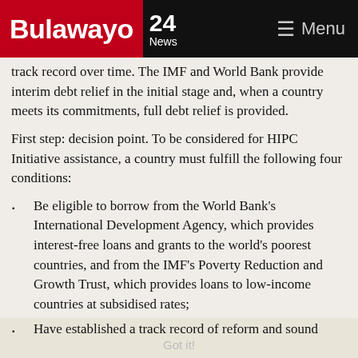Bulawayo 24 News — Menu
track record over time. The IMF and World Bank provide interim debt relief in the initial stage and, when a country meets its commitments, full debt relief is provided.
First step: decision point. To be considered for HIPC Initiative assistance, a country must fulfill the following four conditions:
Be eligible to borrow from the World Bank's International Development Agency, which provides interest-free loans and grants to the world's poorest countries, and from the IMF's Poverty Reduction and Growth Trust, which provides loans to low-income countries at subsidised rates;
Face an unsustainable debt burden that cannot be addressed through traditional debt relief mechanisms;
Have established a track record of reform and sound